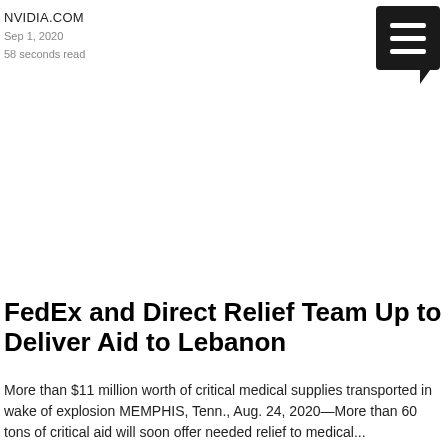NVIDIA.COM
Sep 1, 2020
58 seconds read
[Figure (other): Document/article icon — black rounded rectangle with three white horizontal lines and a speech-bubble tail pointing down-right]
FedEx and Direct Relief Team Up to Deliver Aid to Lebanon
More than $11 million worth of critical medical supplies transported in wake of explosion MEMPHIS, Tenn., Aug. 24, 2020—More than 60 tons of critical aid will soon offer needed relief to medical...